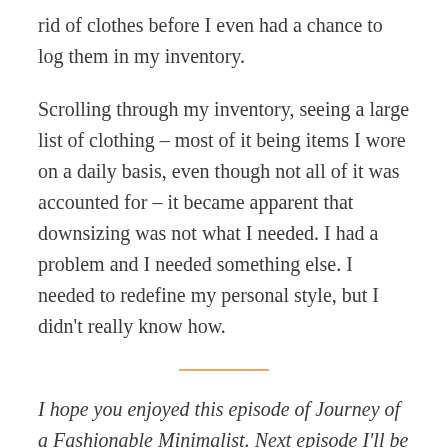rid of clothes before I even had a chance to log them in my inventory.
Scrolling through my inventory, seeing a large list of clothing – most of it being items I wore on a daily basis, even though not all of it was accounted for – it became apparent that downsizing was not what I needed. I had a problem and I needed something else. I needed to redefine my personal style, but I didn't really know how.
I hope you enjoyed this episode of Journey of a Fashionable Minimalist. Next episode I'll be discussing some of the things I did to try and